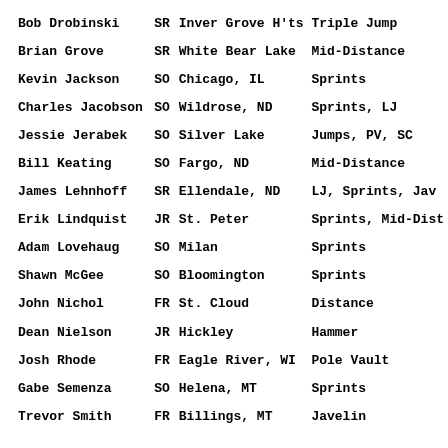| Name | Year | Hometown | Event |
| --- | --- | --- | --- |
| Bob Drobinski | SR | Inver Grove H'ts | Triple Jump |
| Brian Grove | SR | White Bear Lake | Mid-Distance |
| Kevin Jackson | SO | Chicago, IL | Sprints |
| Charles Jacobson | SO | Wildrose, ND | Sprints, LJ |
| Jessie Jerabek | SO | Silver Lake | Jumps, PV, SC |
| Bill Keating | SO | Fargo, ND | Mid-Distance |
| James Lehnhoff | SR | Ellendale, ND | LJ, Sprints, Jav |
| Erik Lindquist | JR | St. Peter | Sprints, Mid-Dist |
| Adam Lovehaug | SO | Milan | Sprints |
| Shawn McGee | SO | Bloomington | Sprints |
| John Nichol | FR | St. Cloud | Distance |
| Dean Nielson | JR | Hickley | Hammer |
| Josh Rhode | FR | Eagle River, WI | Pole Vault |
| Gabe Semenza | SO | Helena, MT | Sprints |
| Trevor Smith | FR | Billings, MT | Javelin |